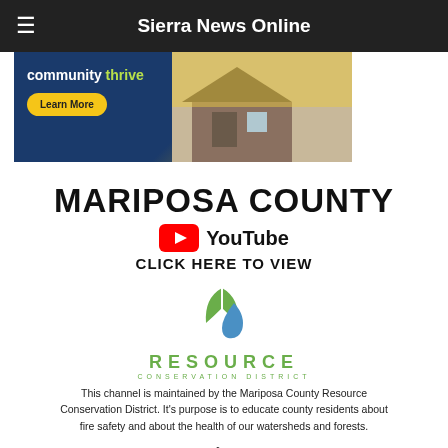Sierra News Online
[Figure (photo): Advertisement banner showing a cabin/house with text 'community thrive' and a 'Learn More' button on a blue and yellow background]
MARIPOSA COUNTY
[Figure (logo): YouTube logo with play button icon and 'YouTube' wordmark]
CLICK HERE TO VIEW
[Figure (logo): Resource Conservation District logo showing a green leaf and blue water droplet swirl, with text 'RESOURCE CONSERVATION DISTRICT']
This channel is maintained by the Mariposa County Resource Conservation District. It's purpose is to educate county residents about fire safety and about the health of our watersheds and forests.
Your Yosemite Get Away !
[Figure (photo): Bottom banner in teal/cyan color, partial view of a logo]